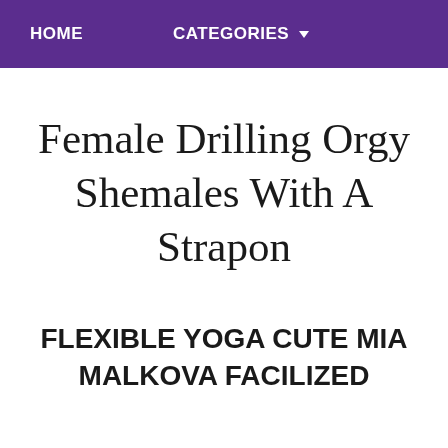HOME   CATEGORIES
Female Drilling Orgy Shemales With A Strapon
FLEXIBLE YOGA CUTE MIA MALKOVA FACILIZED